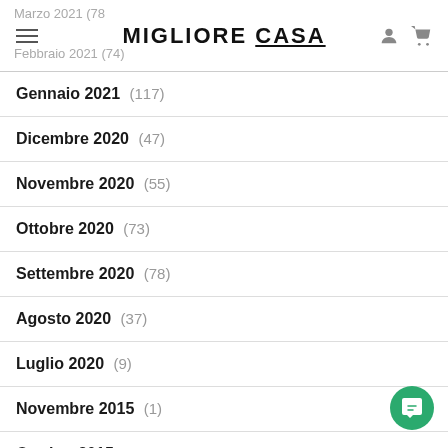MIGLIORE CASA
Gennaio 2021 (117)
Dicembre 2020 (47)
Novembre 2020 (55)
Ottobre 2020 (73)
Settembre 2020 (78)
Agosto 2020 (37)
Luglio 2020 (9)
Novembre 2015 (1)
Ottobre 2015 (2)
Gennaio 2014 (1)